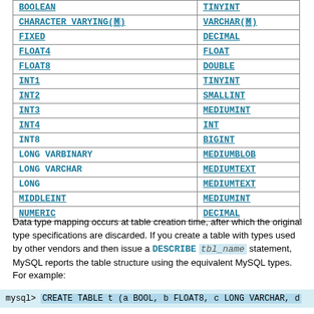| Type Name (Synonym) | MySQL Type |
| --- | --- |
| BOOLEAN | TINYINT |
| CHARACTER VARYING(M) | VARCHAR(M) |
| FIXED | DECIMAL |
| FLOAT4 | FLOAT |
| FLOAT8 | DOUBLE |
| INT1 | TINYINT |
| INT2 | SMALLINT |
| INT3 | MEDIUMINT |
| INT4 | INT |
| INT8 | BIGINT |
| LONG VARBINARY | MEDIUMBLOB |
| LONG VARCHAR | MEDIUMTEXT |
| LONG | MEDIUMTEXT |
| MIDDLEINT | MEDIUMINT |
| NUMERIC | DECIMAL |
Data type mapping occurs at table creation time, after which the original type specifications are discarded. If you create a table with types used by other vendors and then issue a DESCRIBE tbl_name statement, MySQL reports the table structure using the equivalent MySQL types. For example:
mysql> CREATE TABLE t (a BOOL, b FLOAT8, c LONG VARCHAR, d